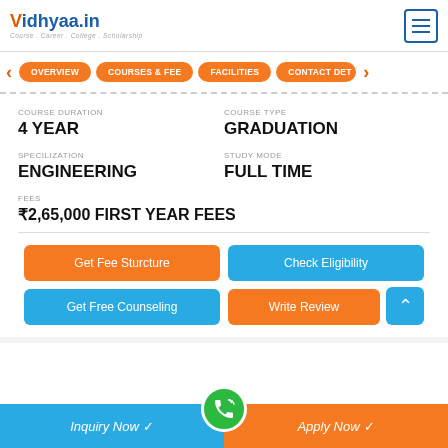vidhyaa.in — Course. Career. College. Scholarship.
OVERVIEW | COURSES & FEE | FACILITIES | CONTACT DET
COURSE DURATION: 4 YEAR
COURSE TYPE: GRADUATION
SPECILIZATION: ENGINEERING
STUDY MODE: FULL TIME
FEES: ₹2,65,000 FIRST YEAR FEES
Get Fee Sturcture | Check Eligibility | Get Free Counseling | Write Review
Inquiry Now ✓ | Apply Now ✓